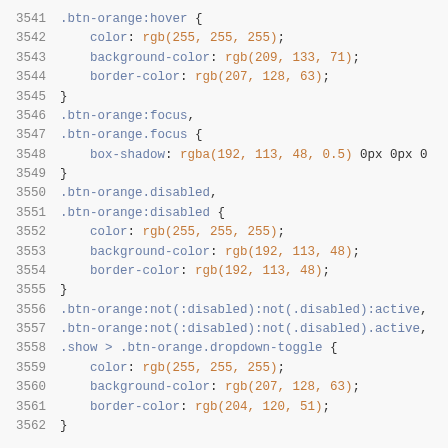[Figure (screenshot): Code editor screenshot showing CSS code lines 3541-3562 with syntax highlighting. Line numbers in gray, CSS selectors/properties in blue-gray, rgb/rgba values in orange.]